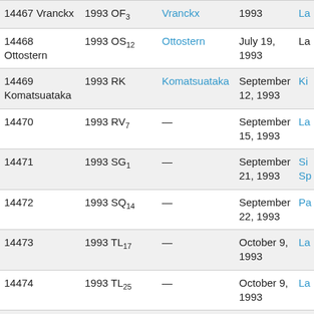| Number/Name | Designation | Named after | Discovery date | Notes |
| --- | --- | --- | --- | --- |
| 14467 Vranckx | 1993 OF₃ | Vranckx | 1993 | La… |
| 14468 Ottostern | 1993 OS₁₂ | Ottostern | July 19, 1993 | La… |
| 14469 Komatsuataka | 1993 RK | Komatsuataka | September 12, 1993 | Ki… |
| 14470 | 1993 RV₇ | — | September 15, 1993 | La… |
| 14471 | 1993 SG₁ | — | September 21, 1993 | Si Sp… |
| 14472 | 1993 SQ₁₄ | — | September 22, 1993 | Pa… |
| 14473 | 1993 TL₁₇ | — | October 9, 1993 | La… |
| 14474 | 1993 TL₂₅ | — | October 9, 1993 | La… |
| 14475 | 1993 VT | — | November 14, 1993 | O… |
| 14476 | 1993 XW₂ | — | December 14, 1993 | Pa… |
| 14477 | 1994 CN | — | February 2, 1994 | Fu… |
| 14478 | 1994 CF₂ | — | February 12, 1994 | O… |
| … | … | … | February… | … |